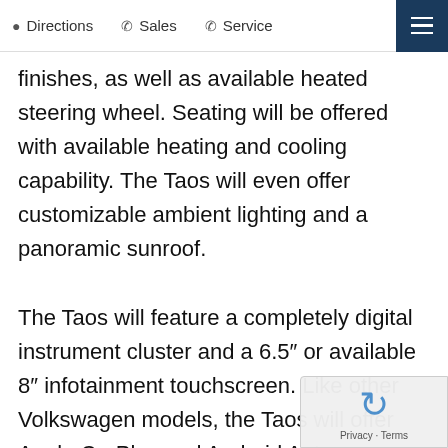Directions  Sales  Service
finishes, as well as available heated steering wheel. Seating will be offered with available heating and cooling capability. The Taos will even offer customizable ambient lighting and a panoramic sunroof.

The Taos will feature a completely digital instrument cluster and a 6.5″ or available 8″ infotainment touchscreen. Like other Volkswagen models, the Taos will offer Apple CarPlay and Android Auto capability. SiriusXM satellite radio, embedded navigation, Bluetooth, voice control and even available wireless